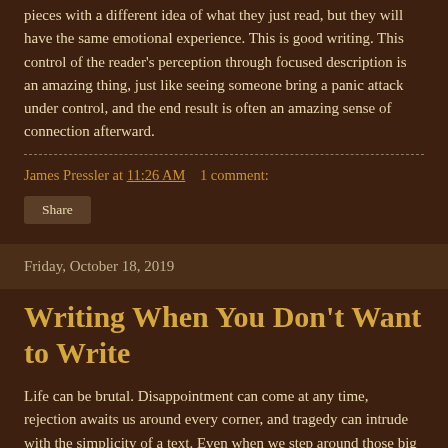pieces with a different idea of what they just read, but they will have the same emotional experience. This is good writing. This control of the reader's perception through focused description is an amazing thing, just like seeing someone bring a panic attack under control, and the end result is often an amazing sense of connection afterward.
James Pressler at 11:26 AM   1 comment:
Share
Friday, October 18, 2019
Writing When You Don't Want to Write
Life can be brutal. Disappointment can come at any time, rejection awaits us around every corner, and tragedy can intrude with the simplicity of a text. Even when we step around those big pitfalls, plenty of little things await us: an unexpected expense, a headache or upset stomach, a friend letting you down. All of these can sap the energy from us, leaving our charge meter deep in the red. At times like this